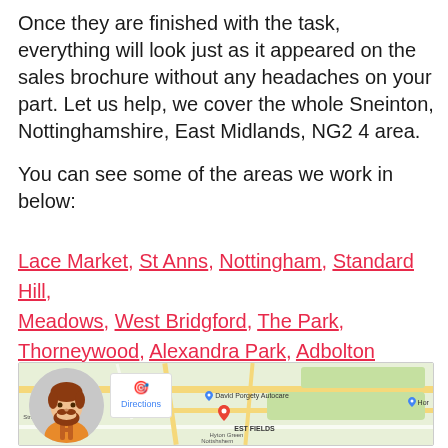Once they are finished with the task, everything will look just as it appeared on the sales brochure without any headaches on your part. Let us help, we cover the whole Sneinton, Nottinghamshire, East Midlands, NG2 4 area.
You can see some of the areas we work in below:
Lace Market, St Anns, Nottingham, Standard Hill, Meadows, West Bridgford, The Park, Thorneywood, Alexandra Park, Adbolton
[Figure (map): Google Maps showing the Sneinton/Nottingham area with a tradesman avatar icon overlaid on the left side and a Directions popup box. Map includes road network, green areas, location pins for EST FIELDS and David Porgety Autocare, and surrounding area labels including Hyton Green, Nottingham, Streli.]